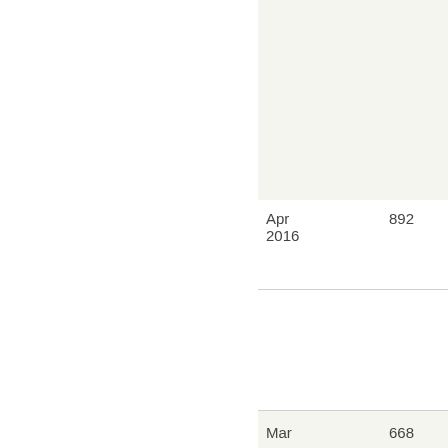| Month | Value1 | Value2 |
| --- | --- | --- |
| Apr 2016 | 892 | 0 |
| Mar | 668 | 0 |